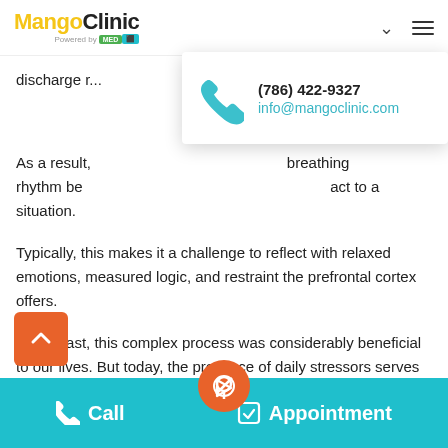Mango Clinic — Powered by MED
[Figure (screenshot): Contact popup showing phone number (786) 422-9327 and email info@mangoclinic.com with a teal phone icon]
discharge r...
As a result, ... breathing rhythm be... act to a situation.
Typically, this makes it a challenge to reflect with relaxed emotions, measured logic, and restraint the prefrontal cortex offers.
In the past, this complex process was considerably beneficial to our lives. But today, the presence of daily stressors serves to t... the intricate balance of our mental health.
Call  |  [icon]  |  Appointment